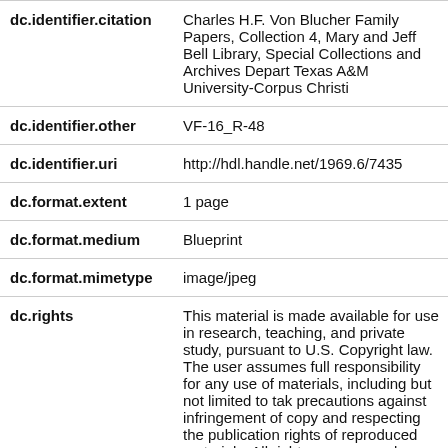| field | value |
| --- | --- |
| dc.identifier.citation | Charles H.F. Von Blucher Family Papers, Collection 4, Mary and Jeff Bell Library, Special Collections and Archives Depart, Texas A&M University-Corpus Christi |
| dc.identifier.other | VF-16_R-48 |
| dc.identifier.uri | http://hdl.handle.net/1969.6/7435 |
| dc.format.extent | 1 page |
| dc.format.medium | Blueprint |
| dc.format.mimetype | image/jpeg |
| dc.rights | This material is made available for use in research, teaching, and private study, pursuant to U.S. Copyright law. The user assumes full responsibility for any use of materials, including but not limited to taking precautions against infringement of copyright and respecting the publication rights of reproduced materials. All rights are reserved and retained regardless of current or future |